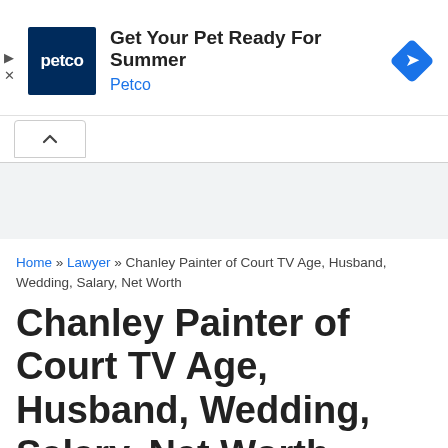[Figure (screenshot): Petco advertisement banner: Petco logo (dark blue square with white 'petco' text), headline 'Get Your Pet Ready For Summer', brand name 'Petco' in blue, and a blue diamond-shaped navigation icon on the right. Ad controls (play and close icons) on the lower left.]
Home » Lawyer » Chanley Painter of Court TV Age, Husband, Wedding, Salary, Net Worth
Chanley Painter of Court TV Age, Husband, Wedding, Salary, Net Worth
[Figure (screenshot): Bottom advertisement area with ad controls (play and close icons) in the upper right.]